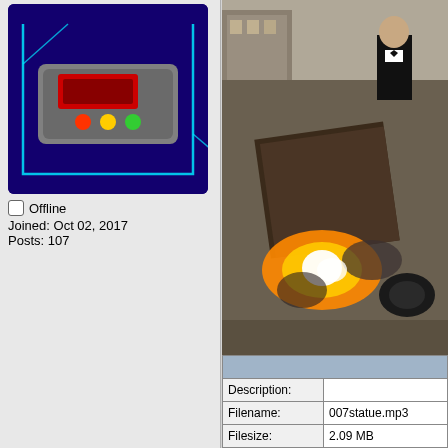[Figure (illustration): Avatar image showing a sci-fi control panel device with colored buttons on a dark blue/purple background with cyan geometric lines]
Offline
Joined: Oct 02, 2017
Posts: 107
[Figure (screenshot): Top right: screenshot of a person in a tuxedo in a street scene from a video game]
[Figure (screenshot): Main right: large screenshot from a video game showing an explosion/gunfire scene with debris and bright light flash]
| Description: |  |
| Filename: | 007statue.mp3 |
| Filesize: | 2.09 MB |